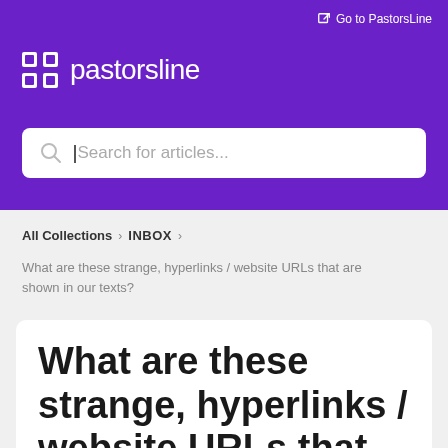Go to PastorsLine
pastorsline
[Figure (screenshot): Search bar with placeholder text 'Search for articles...']
All Collections > INBOX >
What are these strange, hyperlinks / website URLs that are shown in our texts?
What are these strange, hyperlinks / website URLs that are shown in